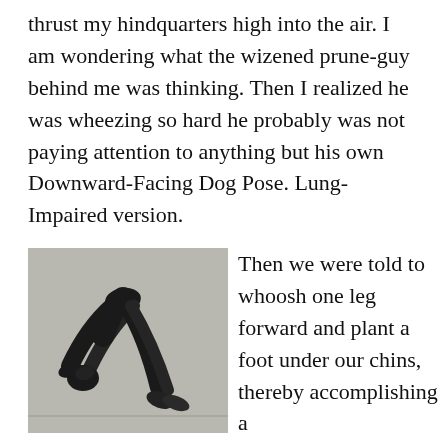thrust my hindquarters high into the air. I am wondering what the wizened prune-guy behind me was thinking. Then I realized he was wheezing so hard he probably was not paying attention to anything but his own Downward-Facing Dog Pose. Lung-Impaired version.
[Figure (photo): Black and white photograph of a person performing a yoga pose (Downward-Facing Dog), viewed from the side, with body forming an inverted V shape, head near the ground and hips raised high.]
Then we were told to whoosh one leg forward and plant a foot under our chins, thereby accomplishing a